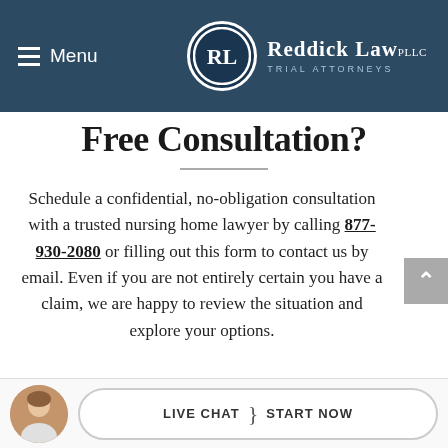Menu | Reddick Law PLLC – Trial Attorneys
Free Consultation?
Schedule a confidential, no-obligation consultation with a trusted nursing home lawyer by calling 877-930-2080 or filling out this form to contact us by email. Even if you are not entirely certain you have a claim, we are happy to review the situation and explore your options.
LIVE CHAT | START NOW